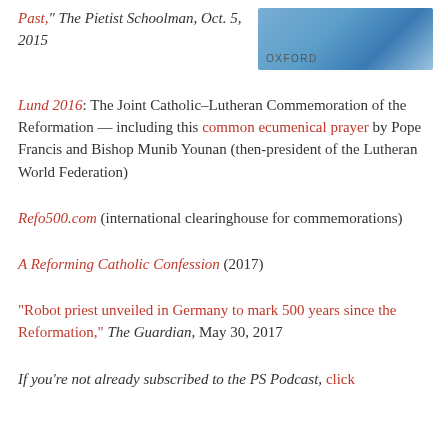Past," The Pietist Schoolman, Oct. 5, 2015
[Figure (photo): Photo of a blue robe/vestment with OXFORD label overlay]
Lund 2016: The Joint Catholic–Lutheran Commemoration of the Reformation — including this common ecumenical prayer by Pope Francis and Bishop Munib Younan (then-president of the Lutheran World Federation)
Refo500.com (international clearinghouse for commemorations)
A Reforming Catholic Confession (2017)
"Robot priest unveiled in Germany to mark 500 years since the Reformation," The Guardian, May 30, 2017
If you're not already subscribed to the PS Podcast, click